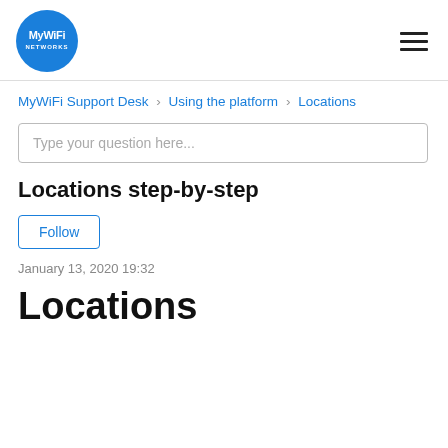[Figure (logo): MyWiFi Networks circular blue logo with white text]
MyWiFi Support Desk › Using the platform › Locations
Type your question here...
Locations step-by-step
Follow
January 13, 2020 19:32
Locations